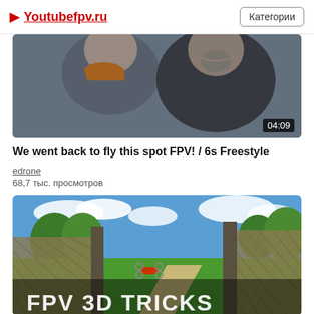▶ Youtubefpv.ru | Категории
[Figure (photo): Video thumbnail showing two men smiling at camera, one wearing orange scarf, duration badge showing 04:09]
We went back to fly this spot FPV! / 6s Freestyle
edrone
68,7 тыс. просмотров
[Figure (screenshot): Video thumbnail showing FPV drone flying in a park with text overlay 'FPV 3D TRICKS']